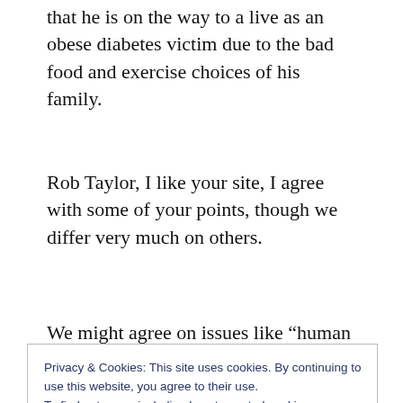that he is on the way to a live as an obese diabetes victim due to the bad food and exercise choices of his family.
Rob Taylor, I like your site, I agree with some of your points, though we differ very much on others.
We might agree on issues like “human rights” for law breakers, government bailouts
about underage sex and child pornography. It
Privacy & Cookies: This site uses cookies. By continuing to use this website, you agree to their use.
To find out more, including how to control cookies, see here: Cookie Policy
Close and accept